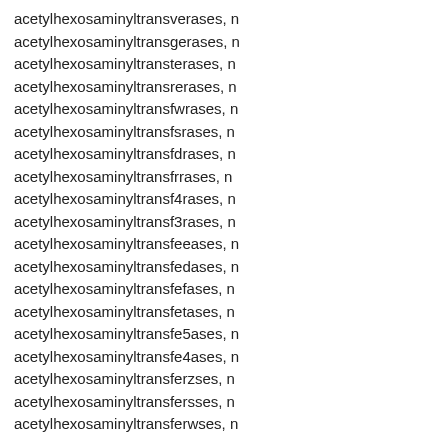acetylhexosaminyltransverases, n
acetylhexosaminyltransgerases, n
acetylhexosaminyltransterases, n
acetylhexosaminyltransrerases, n
acetylhexosaminyltransfwrases, n
acetylhexosaminyltransfsrases, n
acetylhexosaminyltransfdrases, n
acetylhexosaminyltransfrrases, n
acetylhexosaminyltransf4rases, n
acetylhexosaminyltransf3rases, n
acetylhexosaminyltransfeeases, n
acetylhexosaminyltransfedases, n
acetylhexosaminyltransfefases, n
acetylhexosaminyltransfetases, n
acetylhexosaminyltransfe5ases, n
acetylhexosaminyltransfe4ases, n
acetylhexosaminyltransferzses, n
acetylhexosaminyltransfersses, n
acetylhexosaminyltransferwses, n